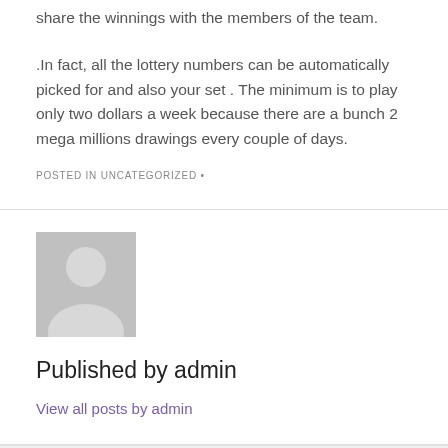share the winnings with the members of the team.
.In fact, all the lottery numbers can be automatically picked for and also your set . The minimum is to play only two dollars a week because there are a bunch 2 mega millions drawings every couple of days.
POSTED IN UNCATEGORIZED •
[Figure (photo): Default avatar placeholder image showing a grey silhouette of a person]
Published by admin
View all posts by admin